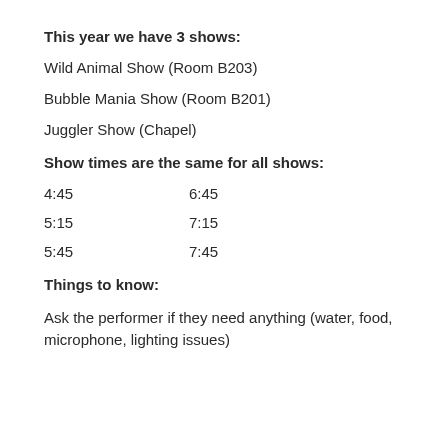This year we have 3 shows:
Wild Animal Show (Room B203)
Bubble Mania Show (Room B201)
Juggler Show (Chapel)
Show times are the same for all shows:
4:45    6:45
5:15    7:15
5:45    7:45
Things to know:
Ask the performer if they need anything (water, food, microphone, lighting issues)